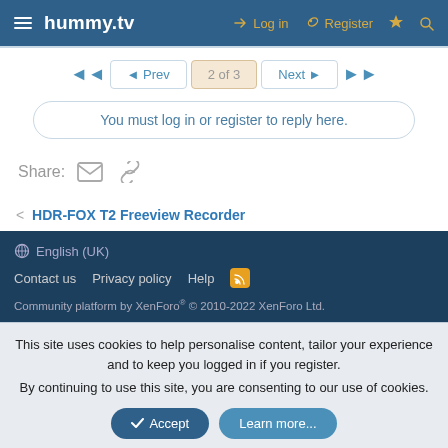hummy.tv — Log in  Register
◄◄  ◄ Prev  2 of 3  Next ►  ►►
You must log in or register to reply here.
Share:
< HDR-FOX T2 Freeview Recorder
⊕ English (UK)
Contact us  Privacy policy  Help
Community platform by XenForo® © 2010-2022 XenForo Ltd.
This site uses cookies to help personalise content, tailor your experience and to keep you logged in if you register.
By continuing to use this site, you are consenting to our use of cookies.
Accept  Learn more...